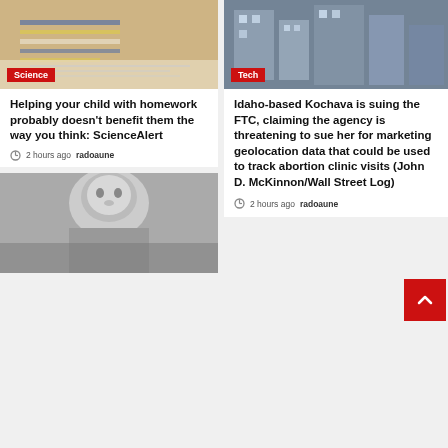[Figure (photo): Photo of person helping child with homework, colorful striped clothing visible]
Science
Helping your child with homework probably doesn't benefit them the way you think: ScienceAlert
2 hours ago  radoaune
[Figure (photo): Photo with dark/urban background, Tech tag]
Tech
Idaho-based Kochava is suing the FTC, claiming the agency is threatening to sue her for marketing geolocation data that could be used to track abortion clinic visits (John D. McKinnon/Wall Street Log)
2 hours ago  radoaune
[Figure (photo): Black and white photo of a person, partially visible at bottom of page]